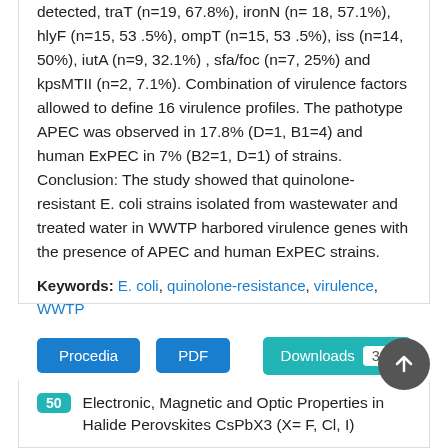detected, traT (n=19, 67.8%), ironN (n=18, 57.1%), hlyF (n=15, 53.5%), ompT (n=15, 53.5%), iss (n=14, 50%), iutA (n=9, 32.1%), sfa/foc (n=7, 25%) and kpsMTII (n=2, 7.1%). Combination of virulence factors allowed to define 16 virulence profiles. The pathotype APEC was observed in 17.8% (D=1, B1=4) and human ExPEC in 7% (B2=1, D=1) of strains. Conclusion: The study showed that quinolone-resistant E. coli strains isolated from wastewater and treated water in WWTP harbored virulence genes with the presence of APEC and human ExPEC strains.
Keywords: E. coli, quinolone-resistance, virulence, WWTP
Procedia  PDF  Downloads 393
50 Electronic, Magnetic and Optic Properties in Halide Perovskites CsPbX3 (X= F, Cl, I)